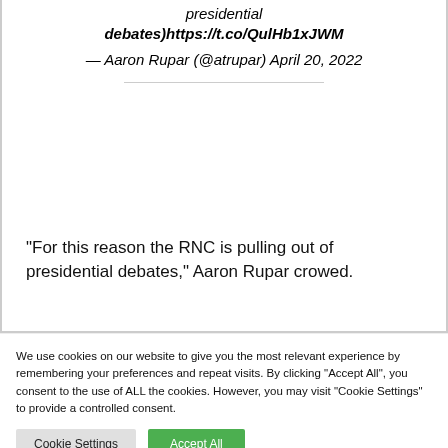presidential debates)https://t.co/QulHb1xJWM
— Aaron Rupar (@atrupar) April 20, 2022
“For this reason the RNC is pulling out of presidential debates,” Aaron Rupar crowed.
We use cookies on our website to give you the most relevant experience by remembering your preferences and repeat visits. By clicking “Accept All”, you consent to the use of ALL the cookies. However, you may visit "Cookie Settings" to provide a controlled consent.